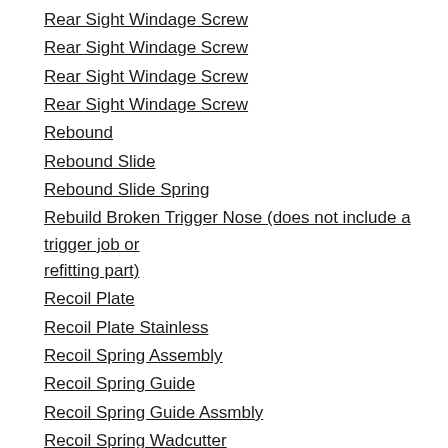Rear Sight Windage Screw
Rear Sight Windage Screw
Rear Sight Windage Screw
Rear Sight Windage Screw
Rebound
Rebound Slide
Rebound Slide Spring
Rebuild Broken Trigger Nose (does not include a trigger job or refitting part)
Recoil Plate
Recoil Plate Stainless
Recoil Spring Assembly
Recoil Spring Guide
Recoil Spring Guide Assmbly
Recoil Spring Wadcutter
Redfield Scope Mount Base
Reduce Trigger Overtravel
Refit after Cerakote or Any Other Special Finish of Pistol
Regulate Barrel to Correct Windage Impact